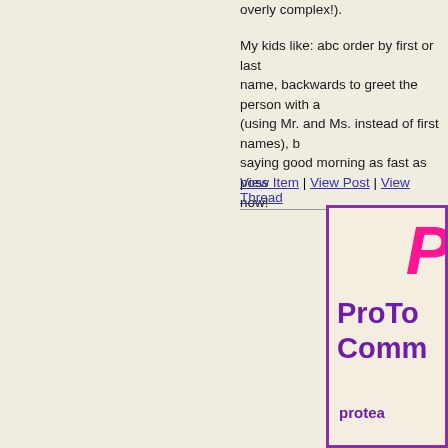overly complex!).
My kids like: abc order by first or last name, backwards to greet the person with a (using Mr. and Ms. instead of first names), b saying good morning as fast as poss now!
View Item | View Post | View Thread
[Figure (logo): ProTeacher Community advertisement with pink stylized logo mark and purple text reading 'ProTo... Comm...' and URL 'protea...' on cream background with purple border]